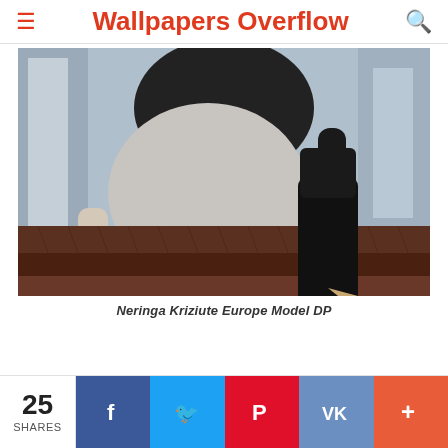Wallpapers Overflow
[Figure (photo): Photo of a woman in light grey tight pants and black high heel boots sitting/climbing on dark brown diamond-plate metal steps, with a black top, outdoors. The image is cropped showing the lower torso and legs.]
Neringa Kriziute Europe Model DP
25 SHARES
[Figure (infographic): Social share bar with Facebook, Twitter, Pinterest, VK, and More (+) buttons]